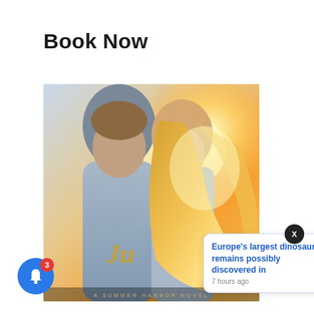Book Now
[Figure (illustration): Book cover for a Summer Harbor Novel showing a man and woman in a romantic close-up pose with golden sunset light. Cursive gold text 'Ju...' visible at bottom. Text at bottom reads 'A SUMMER HARBOR NOVEL'.]
[Figure (infographic): Blue circular notification bell icon with red badge showing number 3]
Europe's largest dinosaur remains possibly discovered in
7 hours ago